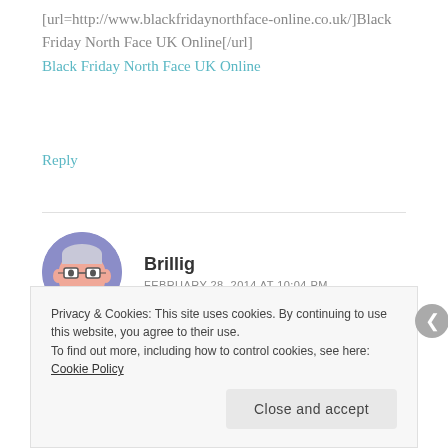[url=http://www.blackfridaynorthface-online.co.uk/]Black Friday North Face UK Online[/url]
Black Friday North Face UK Online
Reply
[Figure (illustration): Avatar of user Brillig: cartoon face with glasses and frown on purple/lavender circular background]
Brillig
FEBRUARY 28, 2014 AT 10:04 PM
Mitsouko (Guerlain) is hideous on me, it smells like rancid castor oil. And I have tried several strengths and even
Privacy & Cookies: This site uses cookies. By continuing to use this website, you agree to their use.
To find out more, including how to control cookies, see here: Cookie Policy
Close and accept